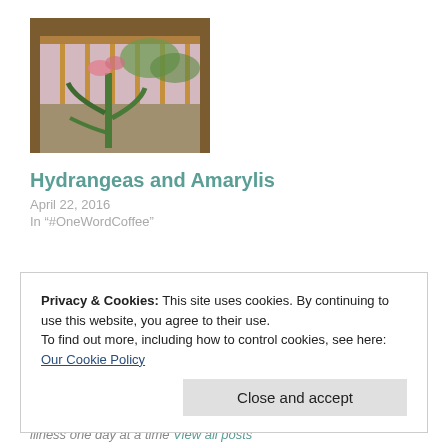[Figure (photo): A potted plant (amaryllis) near a wooden window frame with a railing visible outside]
Hydrangeas and Amarylis
April 22, 2016
In "#OneWordCoffee"
Privacy & Cookies: This site uses cookies. By continuing to use this website, you agree to their use.
To find out more, including how to control cookies, see here: Our Cookie Policy
Close and accept
illness one day at a time View all posts